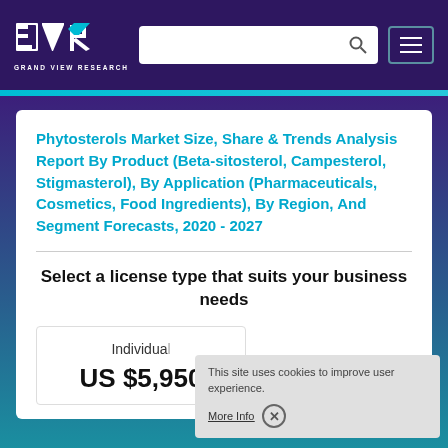Grand View Research — navigation header with logo, search bar, and menu button
Phytosterols Market Size, Share & Trends Analysis Report By Product (Beta-sitosterol, Campesterol, Stigmasterol), By Application (Pharmaceuticals, Cosmetics, Food Ingredients), By Region, And Segment Forecasts, 2020 - 2027
Select a license type that suits your business needs
Individual
US $5,950
This site uses cookies to improve user experience.
More Info